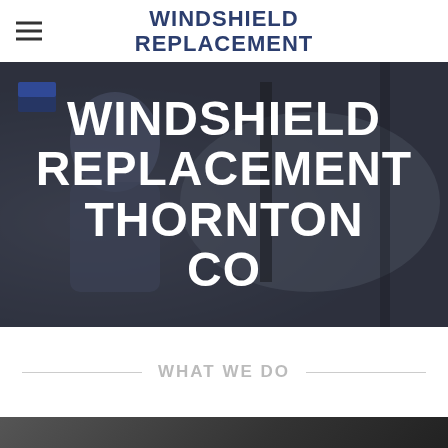WINDSHIELD REPLACEMENT
[Figure (photo): Hero image of a technician installing or replacing a car windshield/window in a garage, overlaid with bold white text reading WINDSHIELD REPLACEMENT THORNTON CO]
WINDSHIELD REPLACEMENT THORNTON CO
WHAT WE DO
[Figure (photo): Partial view of a bottom image strip showing a vehicle or auto glass scene, partially cut off at the bottom of the page]